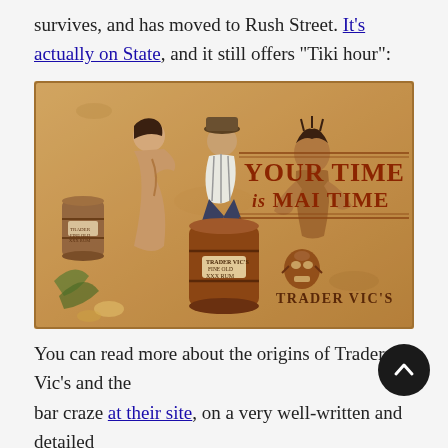survives, and has moved to Rush Street. It's actually on State, and it still offers “Tiki hour”:
[Figure (illustration): Vintage Trader Vic's advertisement illustration showing tropical tiki theme with figures around a barrel labeled 'Trader Vic's Fine Old XXX Rum'. Text reads 'YOUR TIME is MAI TIME' and 'TRADER VIC'S' with a tiki mask logo.]
You can read more about the origins of Trader Vic’s and the bar craze at their site, on a very well-written and detailed “About” page. An excerpt: